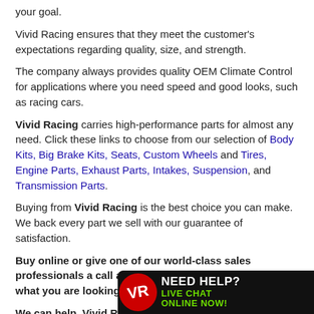your goal.
Vivid Racing ensures that they meet the customer's expectations regarding quality, size, and strength.
The company always provides quality OEM Climate Control for applications where you need speed and good looks, such as racing cars.
Vivid Racing carries high-performance parts for almost any need. Click these links to choose from our selection of Body Kits, Big Brake Kits, Seats, Custom Wheels and Tires, Engine Parts, Exhaust Parts, Intakes, Suspension, and Transmission Parts.
Buying from Vivid Racing is the best choice you can make. We back every part we sell with our guarantee of satisfaction.
Buy online or give one of our world-class sales professionals a call at 1-480-966-3040. If you don't see what you are looking for, Call Us.
We can help. Vivid Racing was voted #1 in customer service nationwide!
Vivid Racing carries Performance Ignition Parts from all the top manufacturers in the auto industry. These manufacturers include Bosch, Delphi, Euro...
[Figure (logo): Vivid Racing live chat banner with logo, 'NEED HELP?' text and 'LIVE CHAT ONLINE NOW!' in green]